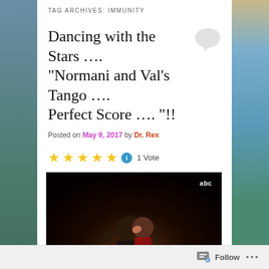TAG ARCHIVES: IMMUNITY
Dancing with the Stars …. "Normani and Val's Tango …. Perfect Score …. "!!
Posted on May 9, 2017 by Dr. Rex
1 Vote
[Figure (photo): Two dancers performing tango on stage with dark background. ABC logo visible in top right corner. 'dancing' text banner at bottom of image.]
Follow